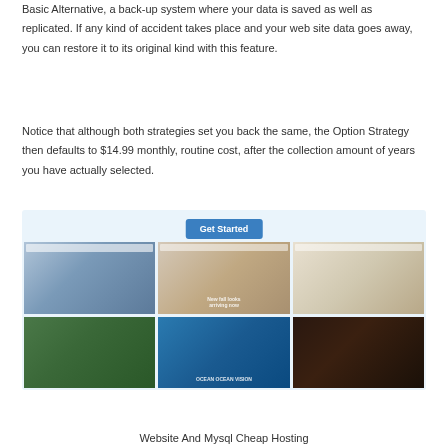Basic Alternative, a back-up system where your data is saved as well as replicated. If any kind of accident takes place and your web site data goes away, you can restore it to its original kind with this feature.
Notice that although both strategies set you back the same, the Option Strategy then defaults to $14.99 monthly, routine cost, after the collection amount of years you have actually selected.
[Figure (screenshot): A grid of six website template screenshots with a 'Get Started' button at the top center, on a light blue background. Top row shows a travel/building site, a fashion/product site, and a surf shop. Bottom row shows a nature/forest site, an ocean/wave site, and a restaurant/food site.]
Website And Mysql Cheap Hosting